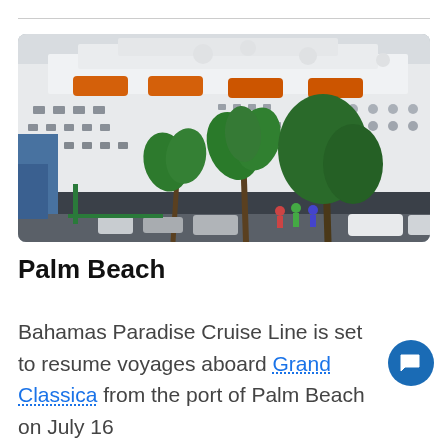[Figure (photo): A large white cruise ship docked at port, with orange lifeboats visible on upper decks. Palm trees and green trees are in the foreground, along with parked cars and a few people. Overcast sky.]
Palm Beach
Bahamas Paradise Cruise Line is set to resume voyages aboard Grand Classica from the port of Palm Beach on July 16